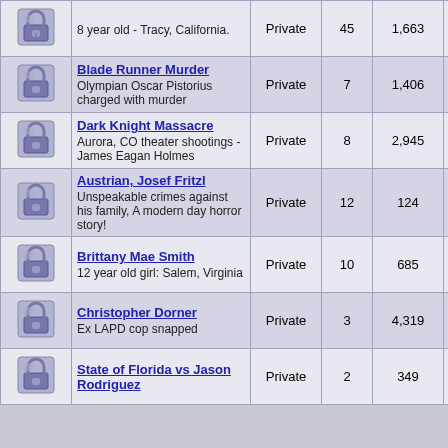|  | Case | Type | # | Views | Tags |
| --- | --- | --- | --- | --- | --- |
| [icon] | 8 year old - Tracy, California. | Private | 45 | 1,663 | Crim, Athena |
| [icon] | Blade Runner Murder
Olympian Oscar Pistorius charged with murder | Private | 7 | 1,406 | Athena, Crim |
| [icon] | Dark Knight Massacre
Aurora, CO theater shootings - James Eagan Holmes | Private | 8 | 2,945 | Athena, Crim |
| [icon] | Austrian, Josef Fritzl
Unspeakable crimes against his family, A modern day horror story! | Private | 12 | 124 | Athena, Crim |
| [icon] | Brittany Mae Smith
12 year old girl: Salem, Virginia | Private | 10 | 685 | Athena, Crim |
| [icon] | Christopher Dorner
Ex LAPD cop snapped | Private | 3 | 4,319 | Athena, Crim |
| [icon] | State of Florida vs Jason Rodriguez | Private | 2 | 349 | Athena, Crim |